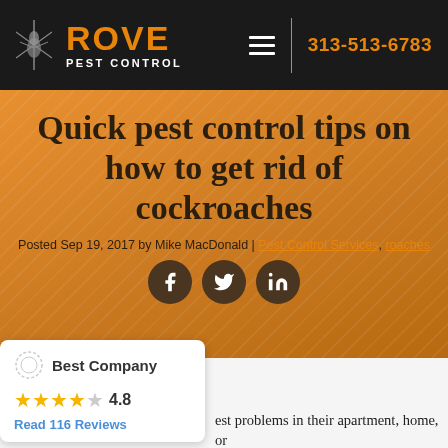[Figure (logo): Rove Pest Control logo with orange ROVE text and insect silhouette on dark background, navigation bar with hamburger menu, vertical divider, and phone number 313-513-6783]
Quick pest control tips on how to get rid of cockroaches
Posted Sep 19, 2017 by Mike MacDonald | Pest Control Services, roaches
[Figure (infographic): Social share icons: Facebook, Twitter, LinkedIn in dark brown circles]
[Figure (logo): Best Company logo with wreath icon and bold text 'Best Company']
4.8
Read 116 Reviews
est problems in their apartment, home, or